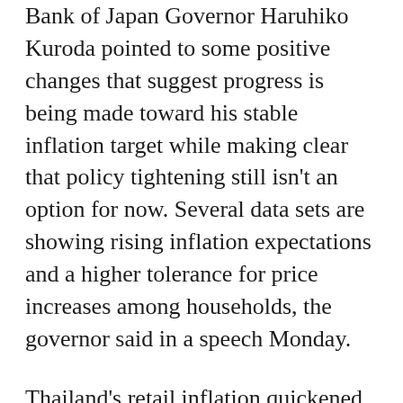Bank of Japan Governor Haruhiko Kuroda pointed to some positive changes that suggest progress is being made toward his stable inflation target while making clear that policy tightening still isn't an option for now. Several data sets are showing rising inflation expectations and a higher tolerance for price increases among households, the governor said in a speech Monday.
Thailand's retail inflation quickened in May to its highest in nearly 14 years, a level that may test the central bank's resolve to stand pat on borrowing costs. Consumer prices rose 7.1% from a year earlier, accelerating from 4.7% a month ago, official data showed Monday.